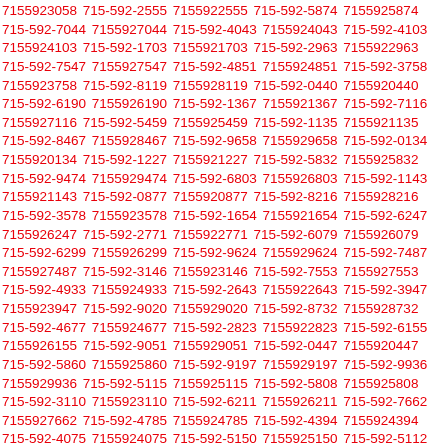7155923058 715-592-2555 7155922555 715-592-5874 7155925874 715-592-7044 7155927044 715-592-4043 7155924043 715-592-4103 7155924103 715-592-1703 7155921703 715-592-2963 7155922963 715-592-7547 7155927547 715-592-4851 7155924851 715-592-3758 7155923758 715-592-8119 7155928119 715-592-0440 7155920440 715-592-6190 7155926190 715-592-1367 7155921367 715-592-7116 7155927116 715-592-5459 7155925459 715-592-1135 7155921135 715-592-8467 7155928467 715-592-9658 7155929658 715-592-0134 7155920134 715-592-1227 7155921227 715-592-5832 7155925832 715-592-9474 7155929474 715-592-6803 7155926803 715-592-1143 7155921143 715-592-0877 7155920877 715-592-8216 7155928216 715-592-3578 7155923578 715-592-1654 7155921654 715-592-6247 7155926247 715-592-2771 7155922771 715-592-6079 7155926079 715-592-6299 7155926299 715-592-9624 7155929624 715-592-7487 7155927487 715-592-3146 7155923146 715-592-7553 7155927553 715-592-4933 7155924933 715-592-2643 7155922643 715-592-3947 7155923947 715-592-9020 7155929020 715-592-8732 7155928732 715-592-4677 7155924677 715-592-2823 7155922823 715-592-6155 7155926155 715-592-9051 7155929051 715-592-0447 7155920447 715-592-5860 7155925860 715-592-9197 7155929197 715-592-9936 7155929936 715-592-5115 7155925115 715-592-5808 7155925808 715-592-3110 7155923110 715-592-6211 7155926211 715-592-7662 7155927662 715-592-4785 7155924785 715-592-4394 7155924394 715-592-4075 7155924075 715-592-5150 7155925150 715-592-5112 7155925112 715-592-4725 7155924725 715-592-6841 7155926841